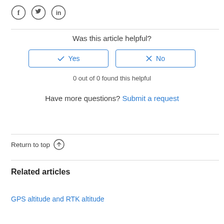[Figure (other): Social media share icons: Facebook, Twitter, LinkedIn circles]
Was this article helpful?
[Figure (other): Yes and No feedback buttons with checkmark and X icons]
0 out of 0 found this helpful
Have more questions? Submit a request
Return to top ↑
Related articles
GPS altitude and RTK altitude